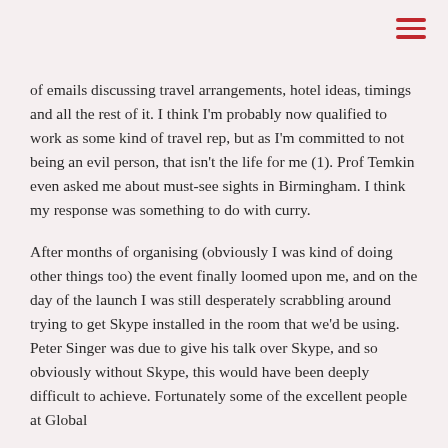of emails discussing travel arrangements, hotel ideas, timings and all the rest of it. I think I'm probably now qualified to work as some kind of travel rep, but as I'm committed to not being an evil person, that isn't the life for me (1). Prof Temkin even asked me about must-see sights in Birmingham. I think my response was something to do with curry.
After months of organising (obviously I was kind of doing other things too) the event finally loomed upon me, and on the day of the launch I was still desperately scrabbling around trying to get Skype installed in the room that we'd be using. Peter Singer was due to give his talk over Skype, and so obviously without Skype, this would have been deeply difficult to achieve. Fortunately some of the excellent people at Global Ethics and Political Science...